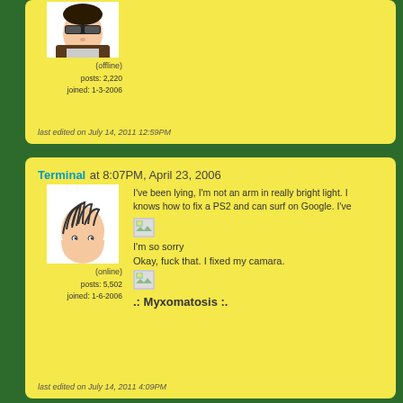[Figure (illustration): User avatar cartoon illustration of a person with sunglasses, top portion visible]
(offline)
posts: 2,220
joined: 1-3-2006
last edited on July 14, 2011 12:59PM
Terminal at 8:07PM, April 23, 2006
[Figure (illustration): User avatar cartoon illustration of a person with messy hair peeking from bottom]
(online)
posts: 5,502
joined: 1-6-2006
I've been lying, I'm not an arm in really bright light. I knows how to fix a PS2 and can surf on Google. I've
I'm so sorry
Okay, fuck that. I fixed my camara.
.: Myxomatosis :.
last edited on July 14, 2011 4:09PM